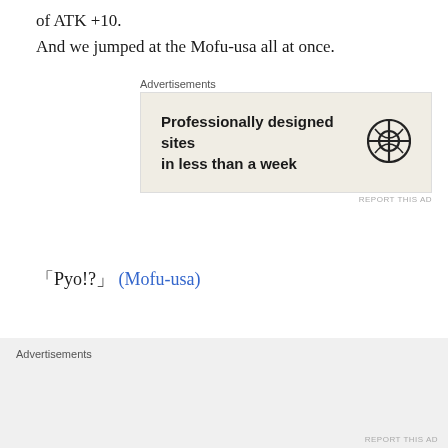of ATK +10.
And we jumped at the Mofu-usa all at once.
[Figure (other): Advertisement box with WordPress logo. Text reads: 'Professionally designed sites in less than a week']
「Pyo!?」 (Mofu-usa)
Mofu-usa notices our surprise attack and cries.
[Figure (other): Bottom advertisement banner area with label 'Advertisements' on grey background]